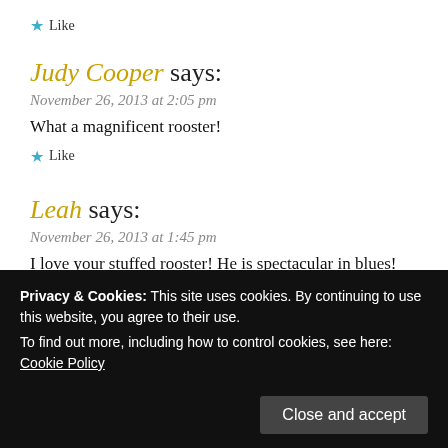★ Like
Judy Cooper says:
November 26, 2013 at 2:05 pm
What a magnificent rooster!
★ Like
Leah says:
November 26, 2013 at 1:45 pm
I love your stuffed rooster! He is spectacular in blues!
★ Like
Privacy & Cookies: This site uses cookies. By continuing to use this website, you agree to their use.
To find out more, including how to control cookies, see here: Cookie Policy
Close and accept
agree about the eyes! What a handsome fella!